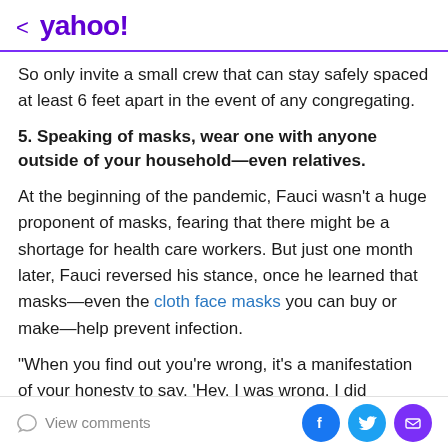< yahoo!
So only invite a small crew that can stay safely spaced at least 6 feet apart in the event of any congregating.
5. Speaking of masks, wear one with anyone outside of your household—even relatives.
At the beginning of the pandemic, Fauci wasn't a huge proponent of masks, fearing that there might be a shortage for health care workers. But just one month later, Fauci reversed his stance, once he learned that masks—even the cloth face masks you can buy or make—help prevent infection.
"When you find out you're wrong, it's a manifestation of your honesty to say, 'Hey, I was wrong, I did subsequent
View comments  [Facebook] [Twitter] [Mail]